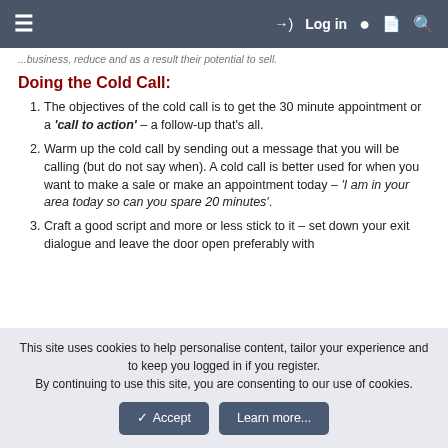≡   → Log in  ● 📄 🔍
...business, reduce and as a result their potential to sell.
Doing the Cold Call:
The objectives of the cold call is to get the 30 minute appointment or a 'call to action' – a follow-up that's all.
Warm up the cold call by sending out a message that you will be calling (but do not say when). A cold call is better used for when you want to make a sale or make an appointment today – 'I am in your area today so can you spare 20 minutes'.
Craft a good script and more or less stick to it – set down your exit dialogue and leave the door open preferably with
This site uses cookies to help personalise content, tailor your experience and to keep you logged in if you register.
By continuing to use this site, you are consenting to our use of cookies.